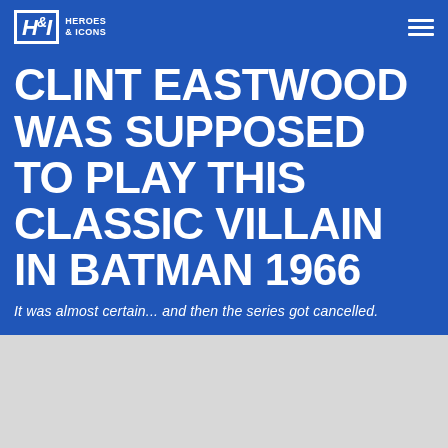H&I Heroes & Icons
CLINT EASTWOOD WAS SUPPOSED TO PLAY THIS CLASSIC VILLAIN IN BATMAN 1966
It was almost certain... and then the series got cancelled.